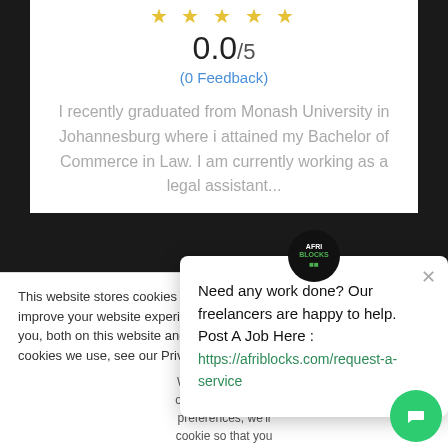[Figure (other): Five star rating icons in yellow/outline style]
0.0/5
(0 Feedback)
I recently graduated from Monash University in Johannesburg where i attained my Bachelor of Commerce in Law. I am currently working as a legal assistant...
This website stores cookies on yo... improve your website experience ... you, both on this website and thro... cookies we use, see our Privacy P...
We won't track you... our site. But in ord... preferences, we'll ... cookie so that you... choice again.
Need any work done? Our freelancers are happy to help. Post A Job Here : https://afriblocks.com/request-a-service
Accept
Decline